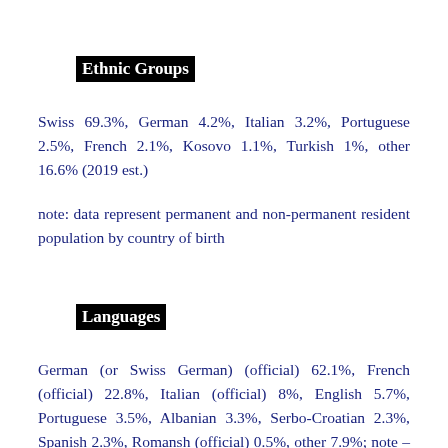Ethnic Groups
Swiss 69.3%, German 4.2%, Italian 3.2%, Portuguese 2.5%, French 2.1%, Kosovo 1.1%, Turkish 1%, other 16.6% (2019 est.)
note: data represent permanent and non-permanent resident population by country of birth
Languages
German (or Swiss German) (official) 62.1%, French (official) 22.8%, Italian (official) 8%, English 5.7%, Portuguese 3.5%, Albanian 3.3%, Serbo-Croatian 2.3%, Spanish 2.3%, Romansh (official) 0.5%, other 7.9%; note – German, French, Italian, and Romansh are all national and official languages; shares sum to more than 100% because respondents could indicate more than one main